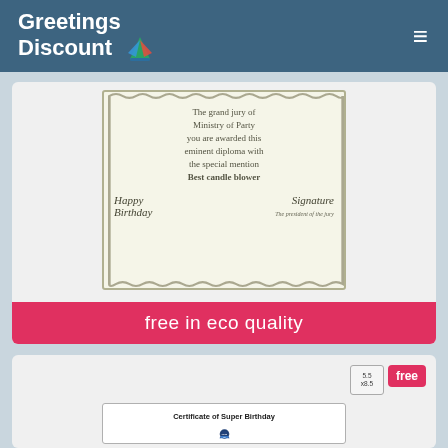Greetings Discount
[Figure (photo): Birthday diploma certificate card with wavy border, text 'The grand jury of Ministry of Party you are awarded this eminent diploma with the special mention Best candle blower', and script signatures 'Happy Birthday' and 'Signature', 'The president of the jury']
free in eco quality
[Figure (photo): Certificate of Super Birthday card with blue rosette/medal badge and 'First name' text in white. Size label 5.5x8.5 and 'free' badge shown.]